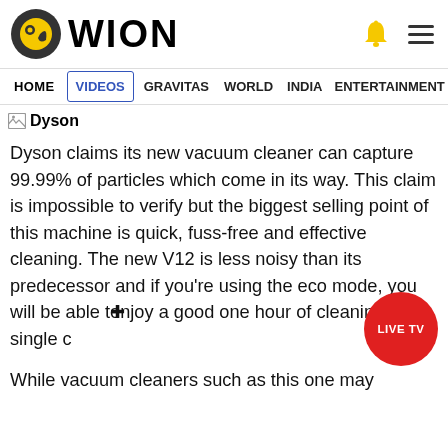WION
HOME  VIDEOS  GRAVITAS  WORLD  INDIA  ENTERTAINMENT  SPORTS
[Figure (other): Dyson image placeholder with broken image icon and bold text 'Dyson']
Dyson claims its new vacuum cleaner can capture 99.99% of particles which come in its way. This claim is impossible to verify but the biggest selling point of this machine is quick, fuss-free and effective cleaning. The new V12 is less noisy than its predecessor and if you're using the eco mode, you will be able to enjoy a good one hour of cleaning on a single c
While vacuum cleaners such as this one may